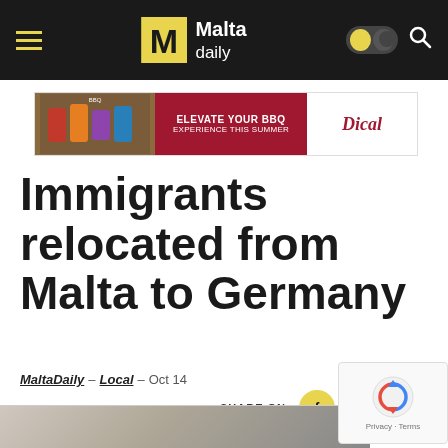Malta Daily – navigation bar with hamburger menu, logo, toggle and search icon
[Figure (illustration): Advertisement banner: BBQ products image on left, dark red background with text 'ELEVATE YOUR BBQ EXPERIENCE THIS SUMMER', Dical brand logo on right]
Immigrants relocated from Malta to Germany
MaltaDaily – Local – Oct 14
SHARE ON: [Facebook] [WhatsApp] [Link]
[Figure (photo): Partial bottom image, appears to be a newspaper or document photo]